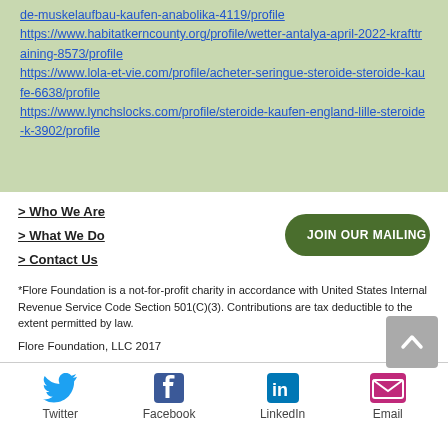https://www.habitatkerncounty.org/profile/wetter-antalya-april-2022-krafttraining-8573/profile
https://www.lola-et-vie.com/profile/acheter-seringue-steroide-steroide-kaufe-6638/profile
https://www.lynchslocks.com/profile/steroide-kaufen-england-lille-steroide-k-3902/profile
> Who We Are
> What We Do
> Contact Us
JOIN OUR MAILING LIST
*Flore Foundation is a not-for-profit charity in accordance with United States Internal Revenue Service Code Section 501(C)(3). Contributions are tax deductible to the extent permitted by law.
Flore Foundation, LLC 2017
[Figure (infographic): Social media icons row: Twitter (bird icon, blue), Facebook (f icon, dark blue), LinkedIn (in icon, dark blue), Email (envelope icon, magenta/purple)]